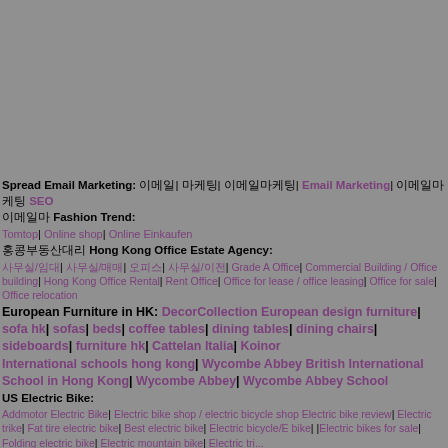Spread Email Marketing: 이메일| 마케팅| 이메일마케팅| Email Marketing| 이메일마케팅 SEO
이메일마 Fashion Trend:
Tomtop| Online shop| Online Einkaufen
홍콩부동산대리 Hong Kong Office Estate Agency:
사무실/임대| 사무실/매매| 오피스| 사무실/이전| Grade A Office| Commercial Building / Office building| Hong Kong Office Rental| Rent Office| Office for lease / office leasing| Office for sale| Office relocation
European Furniture in HK: DecorCollection European design furniture| sofa hk| sofas| beds| coffee tables| dining tables| dining chairs| sideboards| furniture hk| Cattelan Italia| Koinor
International schools hong kong| Wycombe Abbey British International School in Hong Kong| Wycombe Abbey| Wycombe Abbey School
US Electric Bike:
Addmotor Electric Bike| Electric bike shop / electric bicycle shop Electric bike review| Electric trike| Fat tire electric bike| Best electric bike| Electric bicycle/E bike| Electric bikes for sale| Folding electric bike| Electric mountain bike| Electric tri...